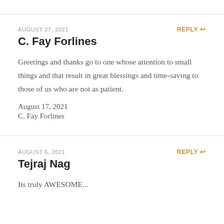AUGUST 27, 2021
REPLY
C. Fay Forlines
Greetings and thanks go to one whose attention to small things and that result in great blessings and time-saving to those of us who are not as patient.
August 17, 2021
C. Fay Forlines
AUGUST 6, 2021
REPLY
Tejraj Nag
Its truly AWESOME...